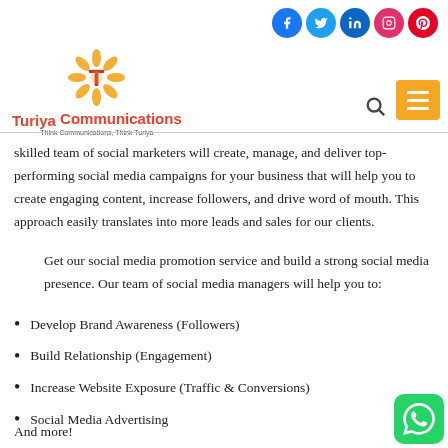[Figure (logo): Turiya Communications logo with orange flower/sun emblem and red text]
[Figure (infographic): Social media icons: Facebook, Twitter, LinkedIn, Instagram, Pinterest]
skilled team of social marketers will create, manage, and deliver top-performing social media campaigns for your business that will help you to create engaging content, increase followers, and drive word of mouth. This approach easily translates into more leads and sales for our clients.
Get our social media promotion service and build a strong social media presence. Our team of social media managers will help you to:
Develop Brand Awareness (Followers)
Build Relationship (Engagement)
Increase Website Exposure (Traffic & Conversions)
Social Media Advertising
And more!